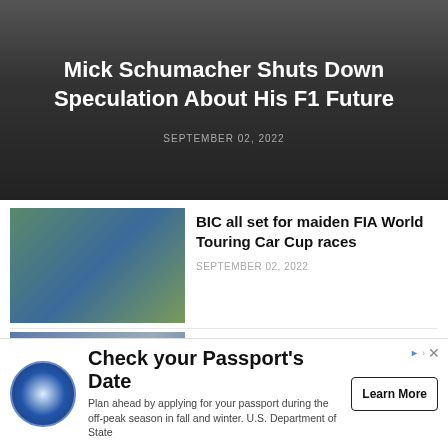[Figure (photo): Hero image with dark background showing legs walking on a race track surface, with white bold headline text overlay]
Mick Schumacher Shuts Down Speculation About His F1 Future
SEPTEMBER 02, 2022
[Figure (photo): Aerial view of touring cars on a race track circuit]
BIC all set for maiden FIA World Touring Car Cup races
SEPTEMBER 02, 2022
[Figure (photo): Two men in suits shaking hands on a football field]
NVTC, Wigan Football Club sign memorandum of cooperation
SEPTEMBER 02, 2022
[Figure (photo): Ronaldo in Manchester United red jersey]
Ronaldo will not be leaving Man United, says Ten Hag
SEPTEMBER 01, 2022
[Figure (other): Advertisement banner: Check your Passport's Date - U.S. Department of State with Learn More button]